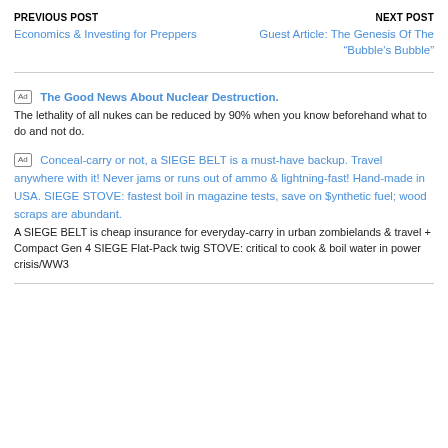PREVIOUS POST
Economics & Investing for Preppers
NEXT POST
Guest Article: The Genesis Of The “Bubble's Bubble”
Ad  The Good News About Nuclear Destruction.
The lethality of all nukes can be reduced by 90% when you know beforehand what to do and not do.
Ad  Conceal-carry or not, a SIEGE BELT is a must-have backup. Travel anywhere with it! Never jams or runs out of ammo & lightning-fast! Hand-made in USA. SIEGE STOVE: fastest boil in magazine tests, save on $ynthetic fuel; wood scraps are abundant.
A SIEGE BELT is cheap insurance for everyday-carry in urban zombielands & travel + Compact Gen 4 SIEGE Flat-Pack twig STOVE: critical to cook & boil water in power crisis/WW3